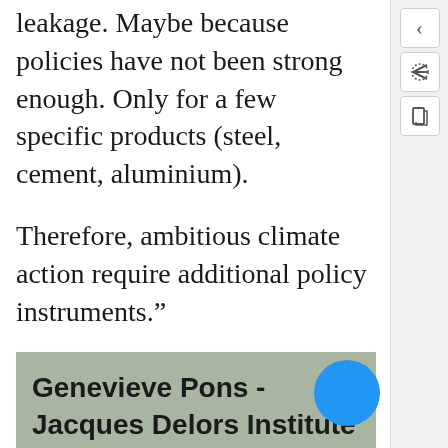leakage. Maybe because policies have not been strong enough. Only for a few specific products (steel, cement, aluminium).
Therefore, ambitious climate action require additional policy instruments.”
Genevieve Pons - Jacques Delors Institute - Carbon Border Adjustment
[3] @mmehling asks @genevieve_pons @DelorsInstitute to share main takeaways of ongoing